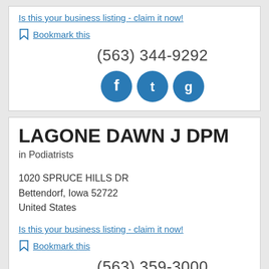Is this your business listing - claim it now!
Bookmark this
(563) 344-9292
[Figure (infographic): Social media icons: Facebook, Twitter, Google+]
LAGONE DAWN J DPM
in Podiatrists
1020 SPRUCE HILLS DR
Bettendorf, Iowa 52722
United States
Is this your business listing - claim it now!
Bookmark this
(563) 359-3000
[Figure (infographic): Social media icons: Facebook, Twitter, Google+]